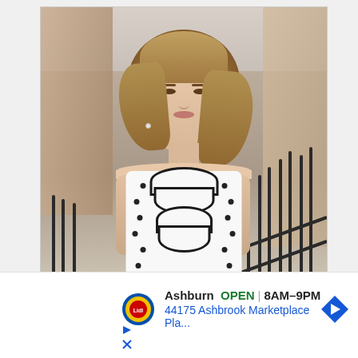[Figure (photo): Young woman with wavy blonde-brown hair wearing a white polka dot dress with black scalloped trim, standing on a city street with brick buildings and iron railings in the background.]
Ashburn  OPEN | 8AM–9PM
44175 Ashbrook Marketplace Pla...